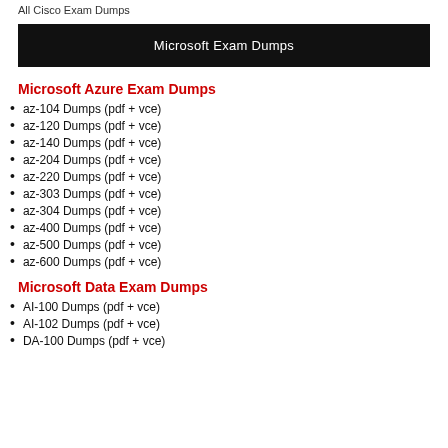All Cisco Exam Dumps
Microsoft Exam Dumps
Microsoft Azure Exam Dumps
az-104 Dumps (pdf + vce)
az-120 Dumps (pdf + vce)
az-140 Dumps (pdf + vce)
az-204 Dumps (pdf + vce)
az-220 Dumps (pdf + vce)
az-303 Dumps (pdf + vce)
az-304 Dumps (pdf + vce)
az-400 Dumps (pdf + vce)
az-500 Dumps (pdf + vce)
az-600 Dumps (pdf + vce)
Microsoft Data Exam Dumps
AI-100 Dumps (pdf + vce)
AI-102 Dumps (pdf + vce)
DA-100 Dumps (pdf + vce)